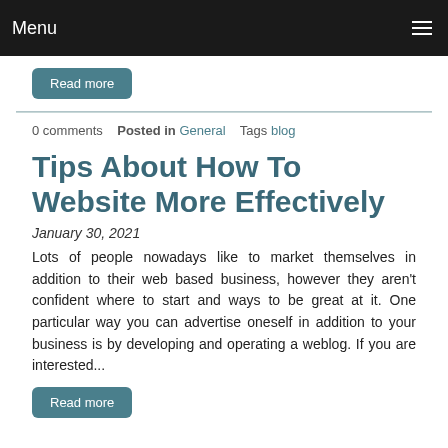Menu
Read more
0 comments   Posted in General   Tags blog
Tips About How To Website More Effectively
January 30, 2021
Lots of people nowadays like to market themselves in addition to their web based business, however they aren't confident where to start and ways to be great at it. One particular way you can advertise oneself in addition to your business is by developing and operating a weblog. If you are interested...
Read more